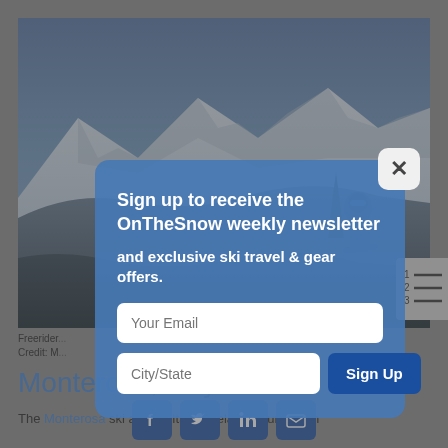[Figure (photo): Mountain ski resort photo with snowy peaks and a snowboarder in foreground carrying a board. Blue sky in background.]
Freerider... Credit: M...
[Figure (screenshot): Email newsletter sign-up modal overlay with fields for email and city/state, and a Sign Up button. Close (X) button top-right.]
Monterosa, Italy
The Monterosa ski area in Italy is relatively unknown
[Figure (infographic): Social sharing bar with Facebook, Twitter, LinkedIn, and email icons]